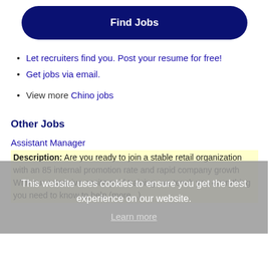[Figure (other): Find Jobs button - dark navy blue rounded rectangle button with white bold text]
Let recruiters find you. Post your resume for free!
Get jobs via email.
View more Chino jobs
Other Jobs
Assistant Manager
Description: Are you ready to join a stable retail organization with an 85 internal promotion rate and rapid company growth With our extensive onsite paid training, we teach you everything you need to know to help (more...)
This website uses cookies to ensure you get the best experience on our website. Learn more